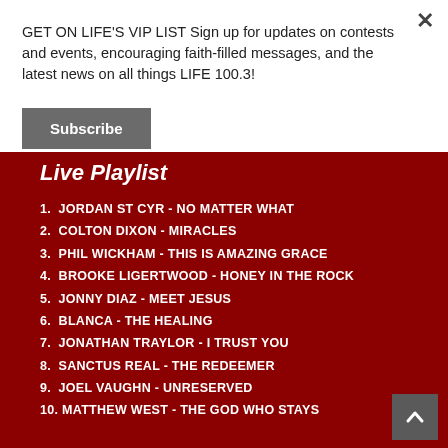GET ON LIFE'S VIP LIST Sign up for updates on contests and events, encouraging faith-filled messages, and the latest news on all things LIFE 100.3!
Subscribe
Live Playlist
1. JORDAN ST CYR - NO MATTER WHAT
2. COLTON DIXON - MIRACLES
3. PHIL WICKHAM - THIS IS AMAZING GRACE
4. BROOKE LIGERTWOOD - HONEY IN THE ROCK
5. JONNY DIAZ - MEET JESUS
6. BLANCA - THE HEALING
7. JONATHAN TRAYLOR - I TRUST YOU
8. SANCTUS REAL - THE REDEEMER
9. JOEL VAUGHN - UNRESERVED
10. MATTHEW WEST - THE GOD WHO STAYS